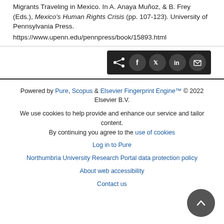Migrants Traveling in Mexico. In A. Anaya-Muñoz, & B. Frey (Eds.), Mexico's Human Rights Crisis (pp. 107-123). University of Pennsylvania Press. https://www.upenn.edu/pennpress/book/15893.html
[Figure (other): Social share bar with icons for share, Facebook, Twitter, LinkedIn, and email on dark background]
Powered by Pure, Scopus & Elsevier Fingerprint Engine™ © 2022 Elsevier B.V.
We use cookies to help provide and enhance our service and tailor content. By continuing you agree to the use of cookies
Log in to Pure
Northumbria University Research Portal data protection policy
About web accessibility
Contact us